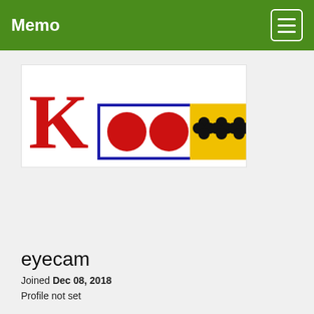Memo
[Figure (logo): Partial logo with a large red K on the left, followed by partially visible red and blue lettering, with a yellow and black decorative banner strip on the right portion]
eyecam
Joined Dec 08, 2018
Profile not set